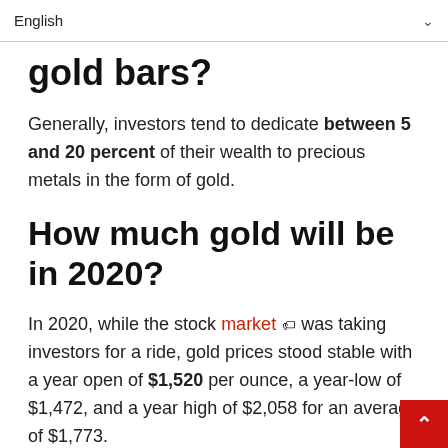English
gold bars?
Generally, investors tend to dedicate between 5 and 20 percent of their wealth to precious metals in the form of gold.
How much gold will be in 2020?
In 2020, while the stock market was taking investors for a ride, gold prices stood stable with a year open of $1,520 per ounce, a year-low of $1,472, and a year high of $2,058 for an average of $1,773.